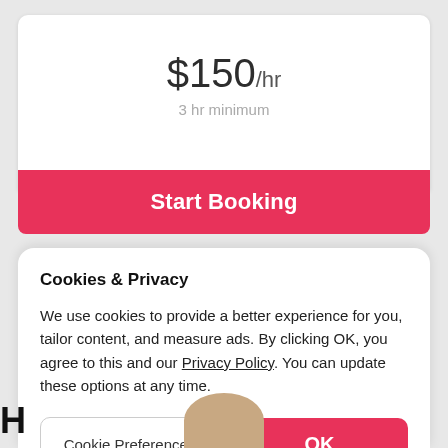$150/hr
3 hr minimum
Start Booking
Cookies & Privacy
We use cookies to provide a better experience for you, tailor content, and measure ads. By clicking OK, you agree to this and our Privacy Policy. You can update these options at any time.
Cookie Preferences
OK